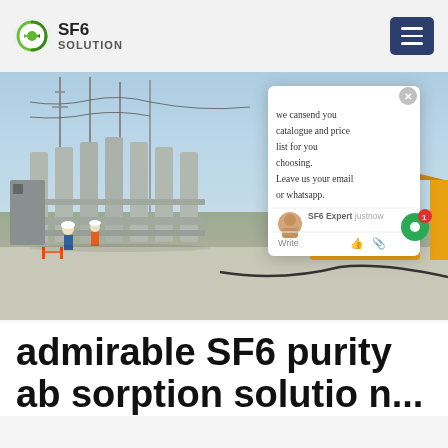SF6 SOLUTION
[Figure (photo): Photograph of a high-voltage electrical substation with SF6 gas-insulated equipment, workers in safety gear, and a yellow mobile service vehicle on a concrete apron. Power towers and cables visible in background.]
we cansend you catalogue and price list for you choosing. Leave us your email or whatsapp.
SF6 Expert   justnow
Write
admirable SF6 purity
ab sorption solution...